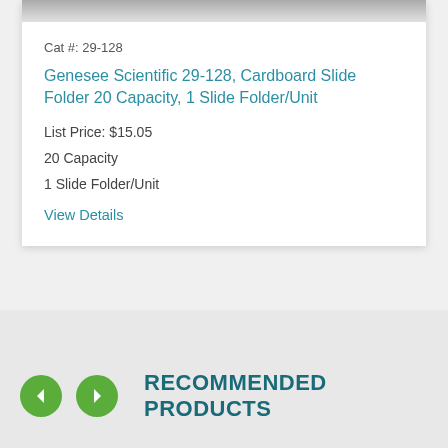[Figure (photo): Partial view of a cardboard slide folder product image at top of card]
Cat #: 29-128
Genesee Scientific 29-128, Cardboard Slide Folder 20 Capacity, 1 Slide Folder/Unit
List Price: $15.05
20 Capacity
1 Slide Folder/Unit
View Details
RECOMMENDED PRODUCTS